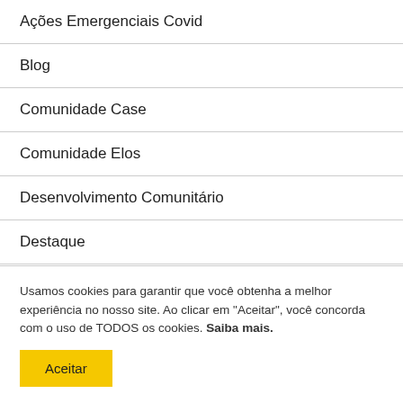Ações Emergenciais Covid
Blog
Comunidade Case
Comunidade Elos
Desenvolvimento Comunitário
Destaque
Educação
Usamos cookies para garantir que você obtenha a melhor experiência no nosso site. Ao clicar em "Aceitar", você concorda com o uso de TODOS os cookies. Saiba mais.
Aceitar